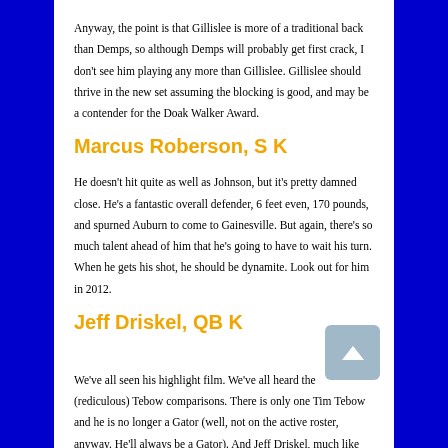Anyway, the point is that Gillislee is more of a traditional back than Demps, so although Demps will probably get first crack, I don't see him playing any more than Gillislee. Gillislee should thrive in the new set assuming the blocking is good, and may be a contender for the Doak Walker Award.
Marcus Roberson, S K
He doesn't hit quite as well as Johnson, but it's pretty damned close. He's a fantastic overall defender, 6 feet even, 170 pounds, and spurned Auburn to come to Gainesville. But again, there's so much talent ahead of him that he's going to have to wait his turn. When he gets his shot, he should be dynamite. Look out for him in 2012.
Jeff Driskel, QB K
We've all seen his highlight film. We've all heard the (rediculous) Tebow comparisons. There is only one Tim Tebow and he is no longer a Gator (well, not on the active roster, anyway. He'll always be a Gator). And Jeff Driskel, much like Andre Debose, has tried to avoid comparisons to the great player they're taking over for. Unlike Debose, however, Driskel's